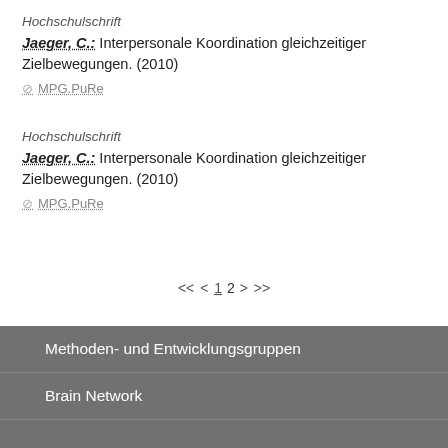Hochschulschrift
Jaeger, C.: Interpersonale Koordination gleichzeitiger Zielbewegungen. (2010)
MPG.PuRe
Hochschulschrift
Jaeger, C.: Interpersonale Koordination gleichzeitiger Zielbewegungen. (2010)
MPG.PuRe
<< < 1 2 > >>
Methoden- und Entwicklungsgruppen
Brain Network